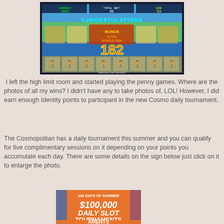[Figure (photo): Slot machine screen showing CONGRATULATIONS and TOTAL BONUS WIN 182, with tropical theme and dancing figures]
I left the high limit room and started playing the penny games. Where are the photos of all my wins? I didn't have any to take photos of, LOL! However, I did earn enough Identity points to participant in the new Cosmo daily tournament.
The Cosmopolitan has a daily tournament this summer and you can qualify for five complimentary sessions on it depending on your points you accumulate each day. There are some details on the sign below just click on it to enlarge the photo.
[Figure (photo): Orange sign showing 100 DAYS OF SUMMER $100,000 DAILY SLOT TOURNAMENTS]